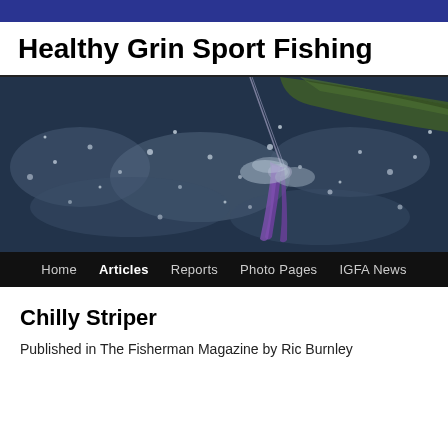Healthy Grin Sport Fishing
[Figure (photo): Action fishing photo showing a sailfish or marlin leaping out of choppy ocean water with a fishing lure visible, dark greenish fish stripe visible at top right]
Home  Articles  Reports  Photo Pages  IGFA News
Chilly Striper
Published in The Fisherman Magazine by Ric Burnley